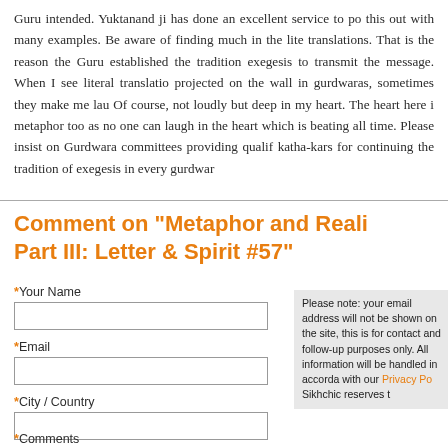Guru intended. Yuktanand ji has done an excellent service to pointing this out with many examples. Be aware of finding much in the literal translations. That is the reason the Guru established the tradition of exegesis to transmit the message. When I see literal translations projected on the wall in gurdwaras, sometimes they make me laugh. Of course, not loudly but deep in my heart. The heart here is a metaphor too as no one can laugh in the heart which is beating all the time. Please insist on Gurdwara committees providing qualified katha-kars for continuing the tradition of exegesis in every gurdwara.
Comment on "Metaphor and Reality: Part III: Letter & Spirit #57"
Your Name (required field), Email (required field), City / Country (required field), Comments (required field)
Please note: your email address will not be shown on the site, this is for contact and follow-up purposes only. All information will be handled in accordance with our Privacy Policy. Sikhchic reserves the right...